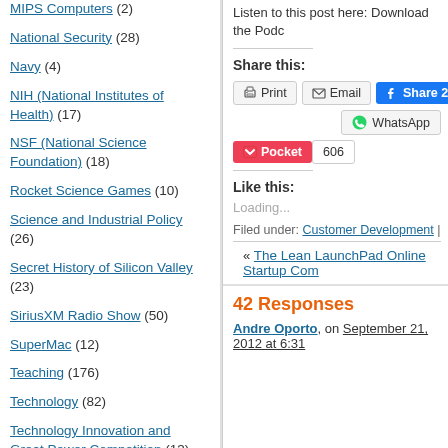MIPS Computers (2)
National Security (28)
Navy (4)
NIH (National Institutes of Health) (17)
NSF (National Science Foundation) (18)
Rocket Science Games (10)
Science and Industrial Policy (26)
Secret History of Silicon Valley (23)
SiriusXM Radio Show (50)
SuperMac (12)
Teaching (176)
Technology (82)
Technology Innovation and Great Power Competition (13)
Listen to this post here: Download the Podc...
Share this:
Print | Email | Share 257 | WhatsApp | Pocket 606
Like this:
Loading...
Filed under: Customer Development |
« The Lean LaunchPad Online Startup Com...
42 Responses
Andre Oporto, on September 21, 2012 at 6:31